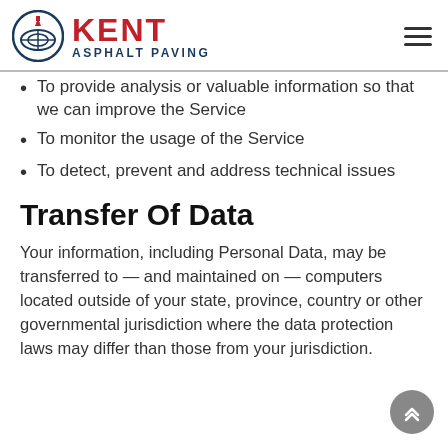KENT ASPHALT PAVING
To provide analysis or valuable information so that we can improve the Service
To monitor the usage of the Service
To detect, prevent and address technical issues
Transfer Of Data
Your information, including Personal Data, may be transferred to — and maintained on — computers located outside of your state, province, country or other governmental jurisdiction where the data protection laws may differ than those from your jurisdiction.